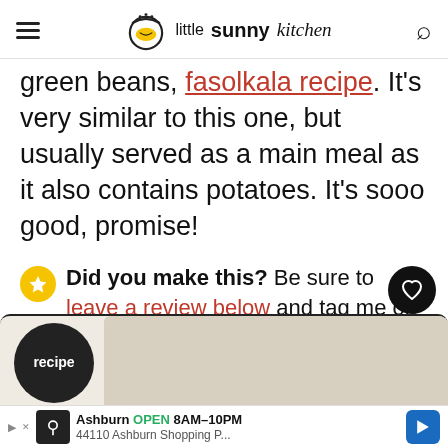little sunny kitchen
green beans, fasolkala recipe. It's very similar to this one, but usually served as a main meal as it also contains potatoes. It's sooo good, promise!
Did you make this? Be sure to leave a review below and tag me on Facebook, Instagram, or Pinterest!
[Figure (screenshot): Recipe card partially visible at bottom of page]
Ashburn OPEN 8AM–10PM 44110 Ashburn Shopping P...